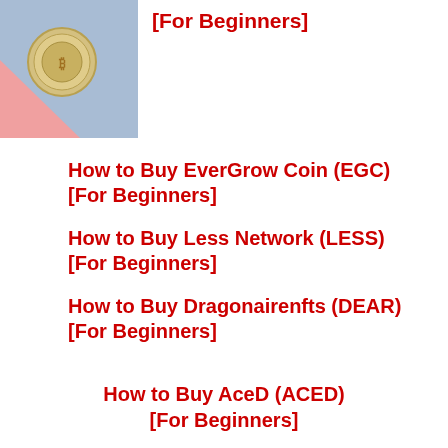[Figure (photo): A circular coin on a pink and blue pastel background]
[For Beginners]
How to Buy EverGrow Coin (EGC) [For Beginners]
How to Buy Less Network (LESS) [For Beginners]
How to Buy Dragonairenfts (DEAR) [For Beginners]
How to Buy AceD (ACED) [For Beginners]